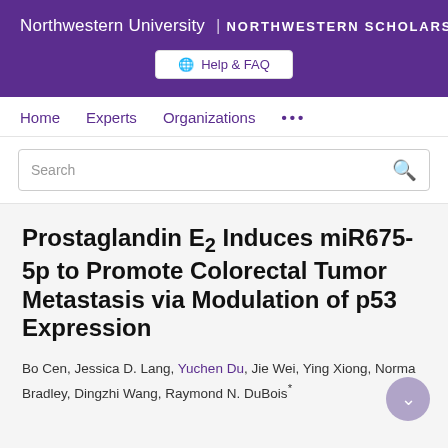Northwestern University | NORTHWESTERN SCHOLARS
Help & FAQ
Home   Experts   Organizations   ...
Search
Prostaglandin E2 Induces miR675-5p to Promote Colorectal Tumor Metastasis via Modulation of p53 Expression
Bo Cen, Jessica D. Lang, Yuchen Du, Jie Wei, Ying Xiong, Norma Bradley, Dingzhi Wang, Raymond N. DuBois*